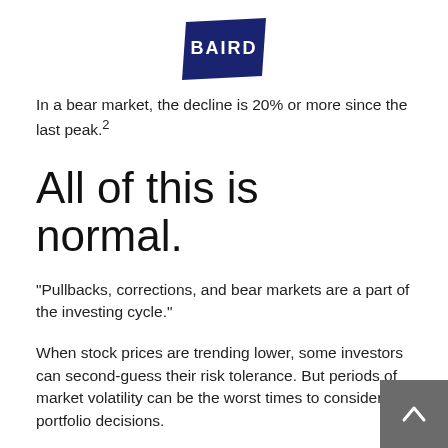[Figure (logo): Baird logo — navy blue trapezoid/flag shape with white text 'BAIRD']
In a bear market, the decline is 20% or more since the last peak.²
All of this is normal.
"Pullbacks, corrections, and bear markets are a part of the investing cycle."
When stock prices are trending lower, some investors can second-guess their risk tolerance. But periods of market volatility can be the worst times to consider portfolio decisions.
Pullbacks and corrections are relatively common and represent something that any investor may see from time to time in their financial life, often several times over the